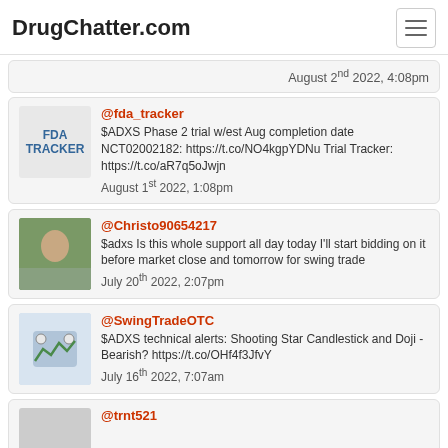DrugChatter.com
August 2nd 2022, 4:08pm
@fda_tracker
$ADXS Phase 2 trial w/est Aug completion date NCT02002182: https://t.co/NO4kgpYDNu Trial Tracker: https://t.co/aR7q5oJwjn
August 1st 2022, 1:08pm
@Christo90654217
$adxs Is this whole support all day today I'll start bidding on it before market close and tomorrow for swing trade
July 20th 2022, 2:07pm
@SwingTradeOTC
$ADXS technical alerts: Shooting Star Candlestick and Doji - Bearish? https://t.co/OHf4f3JfvY
July 16th 2022, 7:07am
@trnt521